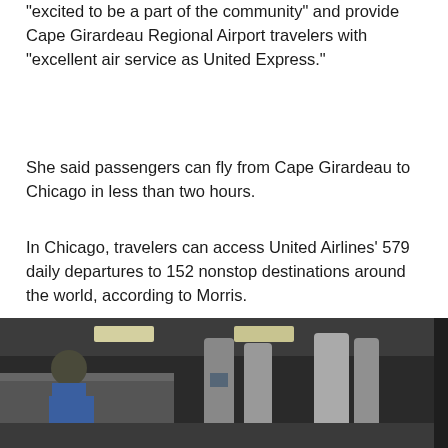"excited to be a part of the community" and provide Cape Girardeau Regional Airport travelers with "excellent air service as United Express."
She said passengers can fly from Cape Girardeau to Chicago in less than two hours.
In Chicago, travelers can access United Airlines' 579 daily departures to 152 nonstop destinations around the world, according to Morris.
Counting all the airlines serving O'Hare, passengers have service to 208 destinations around the world, including 55 international stops, according to online information provided by Loy.
[Figure (photo): Airport interior photo showing a person in a blue shirt standing at a security screening area with baggage scanning equipment and ceiling lights visible.]